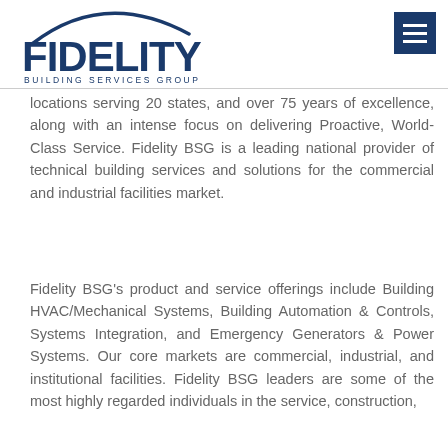[Figure (logo): Fidelity Building Services Group logo — large dark blue 'FIDELITY' text with an arc above, and 'BUILDING SERVICES GROUP' in small caps below]
locations serving 20 states, and over 75 years of excellence, along with an intense focus on delivering Proactive, World-Class Service. Fidelity BSG is a leading national provider of technical building services and solutions for the commercial and industrial facilities market.
Fidelity BSG's product and service offerings include Building HVAC/Mechanical Systems, Building Automation & Controls, Systems Integration, and Emergency Generators & Power Systems. Our core markets are commercial, industrial, and institutional facilities. Fidelity BSG leaders are some of the most highly regarded individuals in the service, construction,